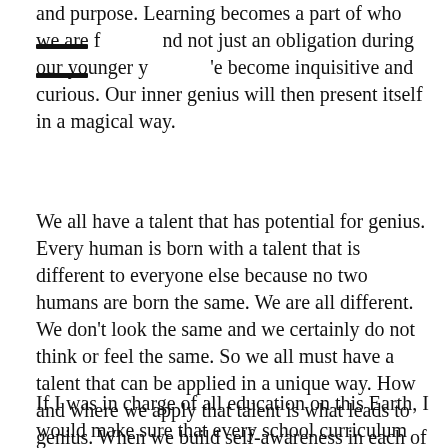and purpose. Learning becomes a part of who we are for and not just an obligation during our younger years. We become inquisitive and curious. Our inner genius will then present itself in a magical way.
We all have a talent that has potential for genius. Every human is born with a talent that is different to everyone else because no two humans are born the same. We are all different. We don't look the same and we certainly do not think or feel the same. So we all must have a talent that can be applied in a unique way. How and where we apply that talent is what leads to genius. When we build self-awareness in each of the aforementioned areas of life, we give ourself the opportunity to discover that genius.
If I was in charge of all education on this Earth, I would make sure that every school curriculum taught